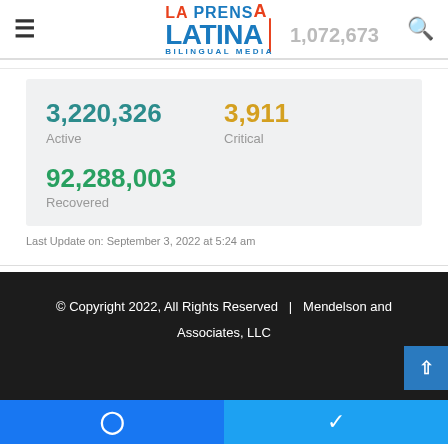[Figure (logo): La Prensa Latina Bilingual Media logo with hamburger menu and search icon]
3,220,326
Active
3,911
Critical
92,288,003
Recovered
Last Update on: September 3, 2022 at 5:24 am
© Copyright 2022, All Rights Reserved  |  Mendelson and Associates, LLC